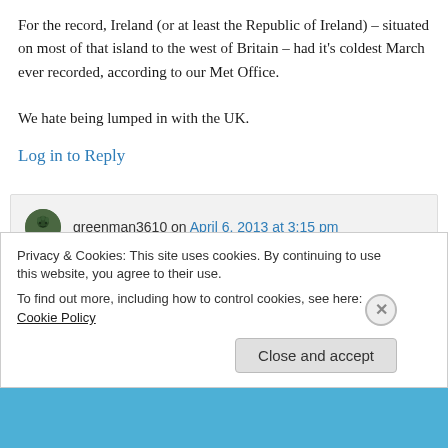For the record, Ireland (or at least the Republic of Ireland) – situated on most of that island to the west of Britain – had it's coldest March ever recorded, according to our Met Office.

We hate being lumped in with the UK.
Log in to Reply
greenman3610 on April 6, 2013 at 3:15 pm
Privacy & Cookies: This site uses cookies. By continuing to use this website, you agree to their use.
To find out more, including how to control cookies, see here: Cookie Policy
Close and accept